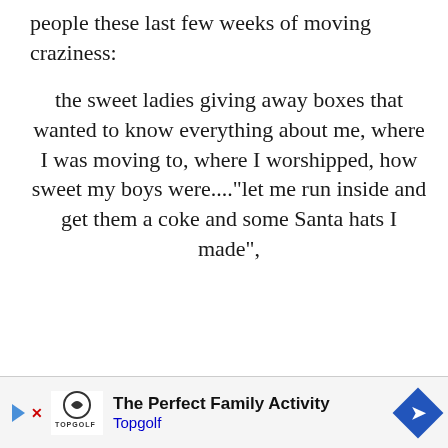people these last few weeks of moving craziness: the sweet ladies giving away boxes that wanted to know everything about me, where I was moving to, where I worshipped, how sweet my boys were...."let me run inside and get them a coke and some Santa hats I made",
[Figure (other): Advertisement banner for Topgolf: 'The Perfect Family Activity' with Topgolf logo and blue navigation arrow]